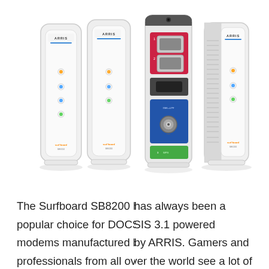[Figure (photo): Four ARRIS Surfboard cable modems shown from different angles: two front views (SB8150 and SB8200), one rear/back view showing ports (Ethernet, coax, power), and one side view with vents. All units are white with the ARRIS logo and SURFboard branding.]
The Surfboard SB8200 has always been a popular choice for DOCSIS 3.1 powered modems manufactured by ARRIS. Gamers and professionals from all over the world see a lot of